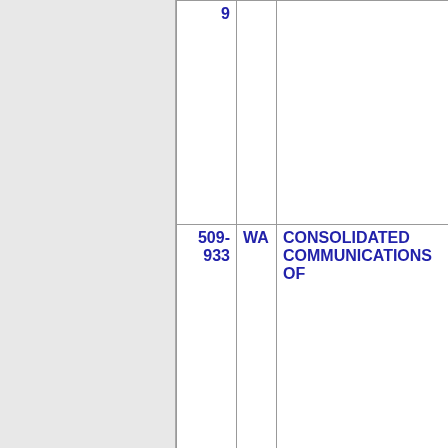| NXX | ST | Company | Code |  |
| --- | --- | --- | --- | --- |
| 9 |  |  |  |  |
| 509-
933 | WA | CONSOLIDATED COMMUNICATIONS OF | 2412 |  |